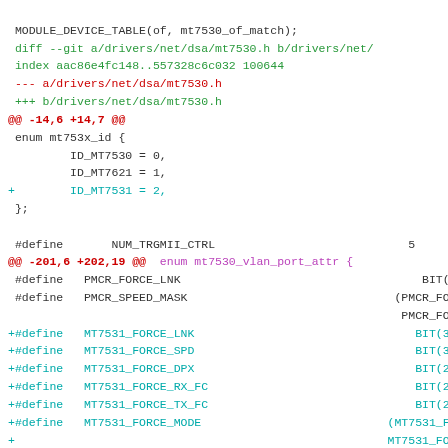MODULE_DEVICE_TABLE(of, mt7530_of_match);
diff --git a/drivers/net/dsa/mt7530.h b/drivers/net/
index aac86e4fc148..557328c6c032 100644
--- a/drivers/net/dsa/mt7530.h
+++ b/drivers/net/dsa/mt7530.h
@@ -14,6 +14,7 @@
 enum mt753x_id {
         ID_MT7530 = 0,
         ID_MT7621 = 1,
+        ID_MT7531 = 2,
 };

 #define        NUM_TRGMII_CTRL                                        5
@@ -201,6 +202,19 @@  enum mt7530_vlan_port_attr {
 #define   PMCR_FORCE_LNK                                              BIT(
 #define   PMCR_SPEED_MASK                                           (PMCR_FORCE_
                                                                      PMCR_FORCE_
+#define   MT7531_FORCE_LNK                                           BIT(31)
+#define   MT7531_FORCE_SPD                                           BIT(30)
+#define   MT7531_FORCE_DPX                                           BIT(29)
+#define   MT7531_FORCE_RX_FC                                         BIT(28)
+#define   MT7531_FORCE_TX_FC                                         BIT(27)
+#define   MT7531_FORCE_MODE                                       (MT7531_FORC
+                                                                  MT7531_FORC
+                                                                  MT7531_FORC
+                                                                  MT7531_FORC
+                                                                  MT7531_FORC
+#define   PMCR_FORCE_MODE_ID(id)                                    (((i
+                                                                  MT7531_FORC
+                                                                  PMCR_FORCE_

 #define   MT7530_PMSR_P(x)                                        (0x3008 + (x